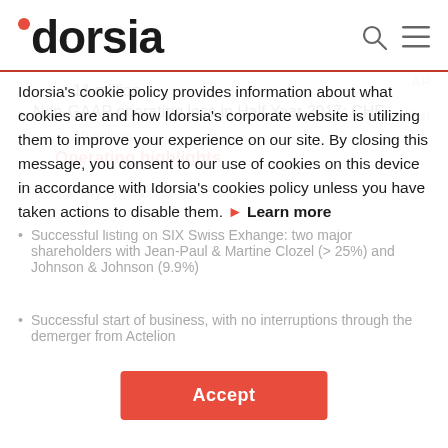[Figure (logo): Idorsia company logo with red dot above letter i]
11 million
Non-GAAP operating loss in Half Year 2017: CHF
10 million
AP
90 million
Operating highlights
Idorsia fully operational on 45 days, with over 600 employees
Successful listing on SIX Swiss Exhange: two major shareholders with Jean-Paul & Martine Clozel (> 25%) and Johnson & Johnson (9.9%)
Successful start of business, with no interruptions through the demerger from Actelion
Idorsia's cookie policy provides information about what cookies are and how Idorsia's corporate website is utilizing them to improve your experience on our site. By closing this message, you consent to our use of cookies on this device in accordance with Idorsia's cookies policy unless you have taken actions to disable them.
Learn more
Accept